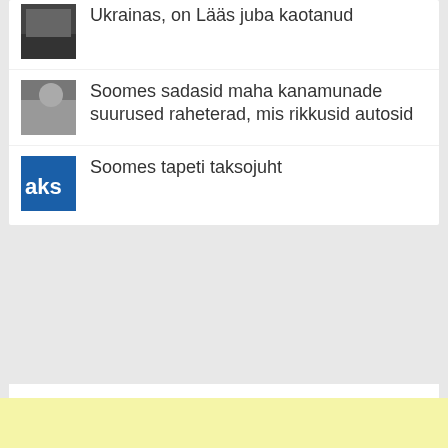Ukrainas, on Lääs juba kaotanud
Soomes sadasid maha kanamunade suurused raheterad, mis rikkusid autosid
Soomes tapeti taksojuht
[Figure (other): Yellow advertisement banner area at the bottom of the page]